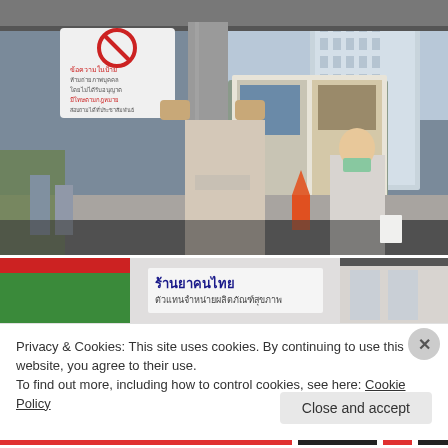[Figure (photo): Street scene in Bangkok, Thailand. A person standing near a pillar holds up a newspaper covering their face. In the background, a woman wearing a surgical mask walks on the sidewalk. A large modern glass building is visible in the background, along with a yellow taxi cab. A sign post with a Thai-language 'no photo' or regulatory sign is visible on the left.]
[Figure (photo): Partial view of a Thai street-facing shop or food stall with a green and red banner. Thai text visible: 'ร้านยาคนไทย' and smaller text below.]
Privacy & Cookies: This site uses cookies. By continuing to use this website, you agree to their use.
To find out more, including how to control cookies, see here: Cookie Policy
Close and accept